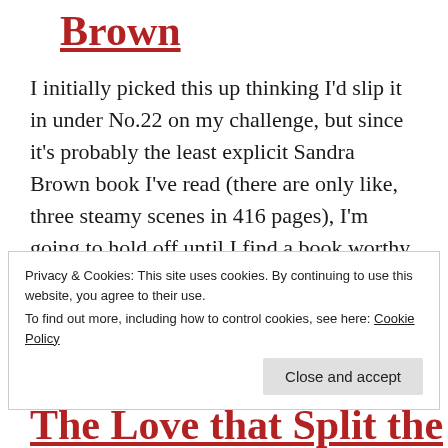Brown
I initially picked this up thinking I'd slip it in under No.22 on my challenge, but since it's probably the least explicit Sandra Brown book I've read (there are only like, three steamy scenes in 416 pages), I'm going to hold off until I find a book worthy of the Erotica genre. In other news, Friction is the perfect book for soaking in [...]
Privacy & Cookies: This site uses cookies. By continuing to use this website, you agree to their use.
To find out more, including how to control cookies, see here: Cookie Policy
The Love that Split the